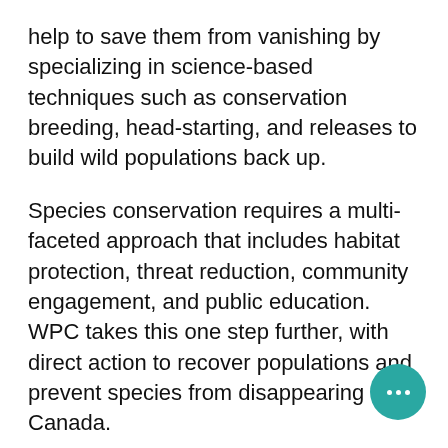help to save them from vanishing by specializing in science-based techniques such as conservation breeding, head-starting, and releases to build wild populations back up.
Species conservation requires a multi-faceted approach that includes habitat protection, threat reduction, community engagement, and public education. WPC takes this one step further, with direct action to recover populations and prevent species from disappearing from Canada.
“This is what we do that makes us so unique,” says Dr. Lance Woolaver, WPC’s Executive Director. “We release animals to increase wild populations while working with partners to protect and restore habitats for endangered species. Our dedicated teams identify and mitigate